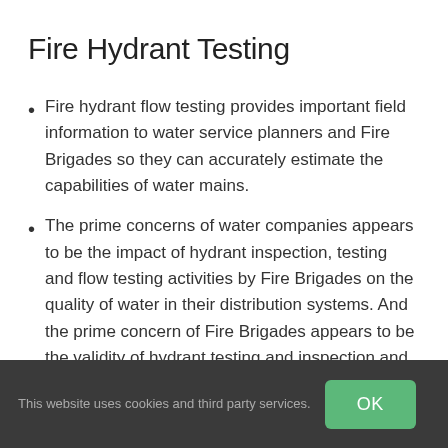Fire Hydrant Testing
Fire hydrant flow testing provides important field information to water service planners and Fire Brigades so they can accurately estimate the capabilities of water mains.
The prime concerns of water companies appears to be the impact of hydrant inspection, testing and flow testing activities by Fire Brigades on the quality of water in their distribution systems. And the prime concern of Fire Brigades appears to be the validity of hydrant testing and inspection and
This website uses cookies and third party services.